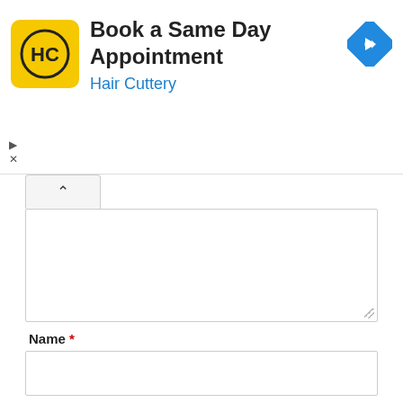[Figure (screenshot): Hair Cuttery advertisement banner: yellow square logo with HC initials, title 'Book a Same Day Appointment', subtitle 'Hair Cuttery' in blue, and a blue diamond navigation icon. Small play and close controls in top-left corner.]
Name *
Email *
Website
Post Comment